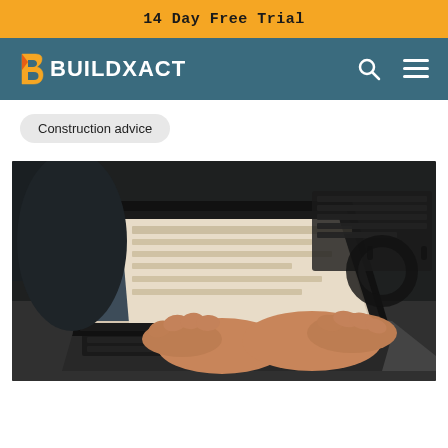14 Day Free Trial
[Figure (logo): Buildxact logo with orange 'b' flame icon and white BUILDXACT text on teal navigation bar with search and hamburger menu icons]
Construction advice
[Figure (photo): Person typing on a MacBook laptop showing what appears to be construction estimating software, with another keyboard and headphones visible in the background]